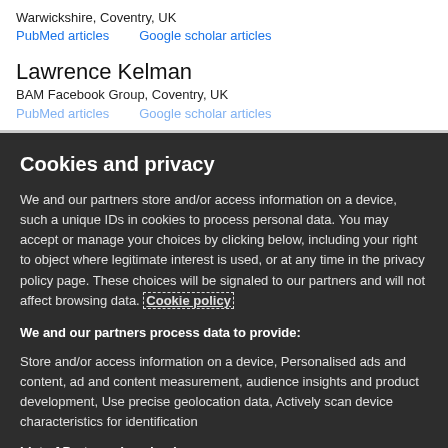Warwickshire, Coventry, UK
PubMed articles    Google scholar articles
Lawrence Kelman
BAM Facebook Group, Coventry, UK
PubMed articles    Google scholar articles
Cookies and privacy
We and our partners store and/or access information on a device, such a unique IDs in cookies to process personal data. You may accept or manage your choices by clicking below, including your right to object where legitimate interest is used, or at any time in the privacy policy page. These choices will be signaled to our partners and will not affect browsing data. Cookie policy
We and our partners process data to provide:
Store and/or access information on a device, Personalised ads and content, ad and content measurement, audience insights and product development, Use precise geolocation data, Actively scan device characteristics for identification
List of Partners (vendors)